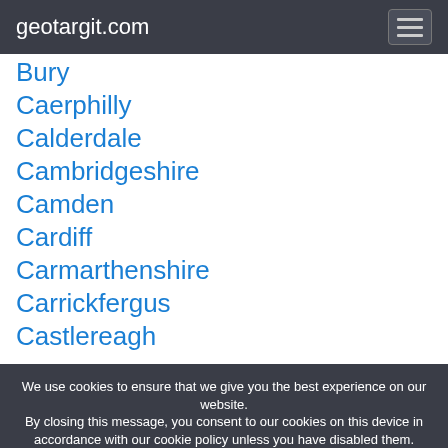geotargit.com
Bury
Caerphilly
Calderdale
Cambridgeshire
Camden
Cardiff
Carmarthenshire
Carrickfergus
Castlereagh
We use cookies to ensure that we give you the best experience on our website. By closing this message, you consent to our cookies on this device in accordance with our cookie policy unless you have disabled them.
I Agree!